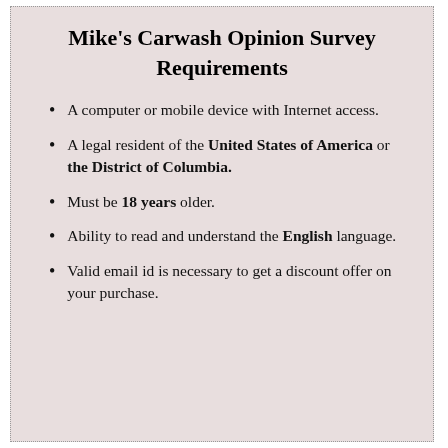Mike's Carwash Opinion Survey Requirements
A computer or mobile device with Internet access.
A legal resident of the United States of America or the District of Columbia.
Must be 18 years older.
Ability to read and understand the English language.
Valid email id is necessary to get a discount offer on your purchase.